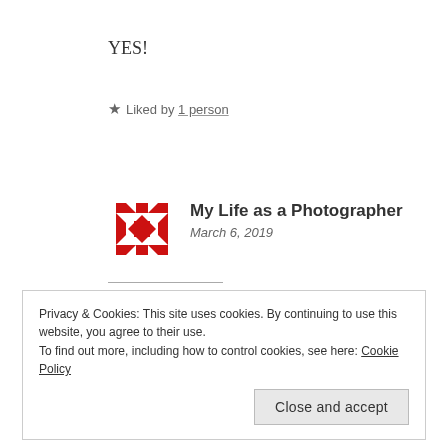YES!
★ Liked by 1 person
My Life as a Photographer
March 6, 2019
Woo hoo!
Privacy & Cookies: This site uses cookies. By continuing to use this website, you agree to their use.
To find out more, including how to control cookies, see here: Cookie Policy
Close and accept